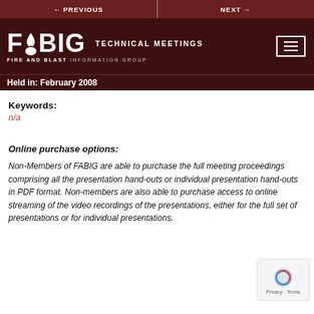← PREVIOUS   NEXT →
[Figure (logo): FABIG Fire and Blast Information Group logo with flame icon on dark red background, with TECHNICAL MEETINGS text and hamburger menu icon]
Held in: February 2008
Keywords:
n/a
Online purchase options:
Non-Members of FABIG are able to purchase the full meeting proceedings comprising all the presentation hand-outs or individual presentation hand-outs in PDF format. Non-members are also able to purchase access to online streaming of the video recordings of the presentations, either for the full set of presentations or for individual presentations.
[Figure (other): reCAPTCHA badge with Privacy and Terms text]